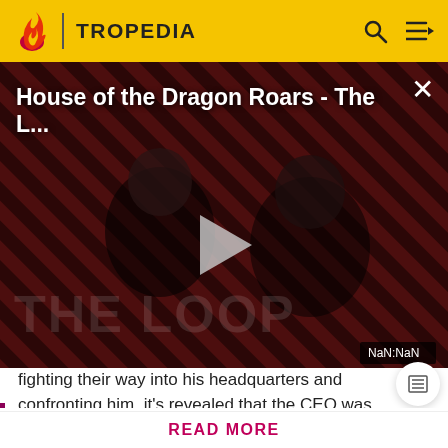TROPEDIA
[Figure (screenshot): Video thumbnail for 'House of the Dragon Roars - The L...' showing dark figures against red diagonal stripe background with play button overlay, THE LOOP text, and NaN:NaN timer]
fighting their way into his headquarters and confronting him, it's revealed that the CEO was
Before making a single edit, Tropedia EXPECTS our site policy and manual of style to be followed. Failure to do so may
READ MORE